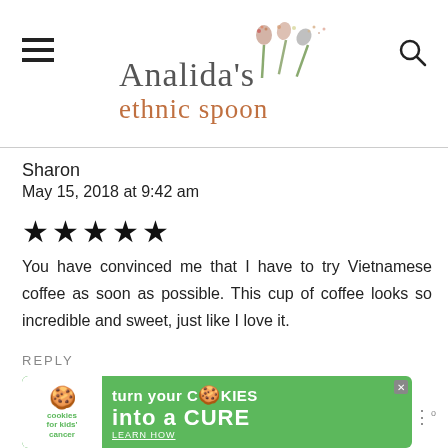[Figure (logo): Analida's Ethnic Spoon website logo with decorative spoons and script text]
Sharon
May 15, 2018 at 9:42 am
★★★★★
You have convinced me that I have to try Vietnamese coffee as soon as possible. This cup of coffee looks so incredible and sweet, just like I love it.
REPLY
[Figure (screenshot): Advertisement banner: cookies for kids cancer - turn your cookies into a CURE LEARN HOW]